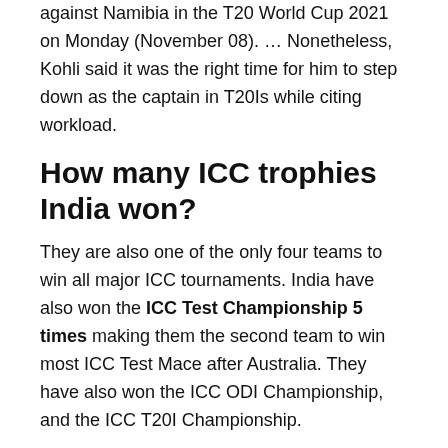against Namibia in the T20 World Cup 2021 on Monday (November 08). … Nonetheless, Kohli said it was the right time for him to step down as the captain in T20Is while citing workload.
How many ICC trophies India won?
They are also one of the only four teams to win all major ICC tournaments. India have also won the ICC Test Championship 5 times making them the second team to win most ICC Test Mace after Australia. They have also won the ICC ODI Championship, and the ICC T20I Championship.
Is Indian team out from T20?